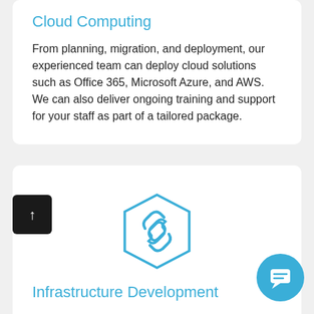Cloud Computing
From planning, migration, and deployment, our experienced team can deploy cloud solutions such as Office 365, Microsoft Azure, and AWS. We can also deliver ongoing training and support for your staff as part of a tailored package.
[Figure (illustration): Hexagonal icon with a chain link symbol, rendered in blue outline style]
Infrastructure Development